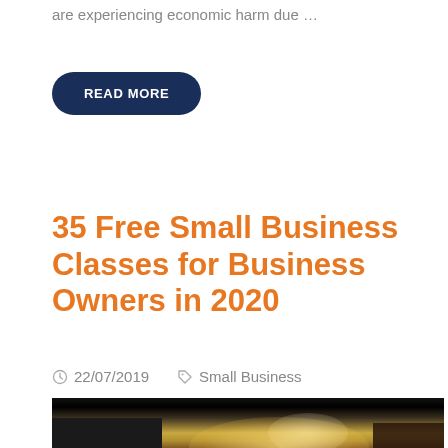are experiencing economic harm due ...
READ MORE
35 Free Small Business Classes for Business Owners in 2020
22/07/2019   Small Business
[Figure (photo): Interior photo of a business or office environment with warm lighting, dark foreground, and lit display area in the background]